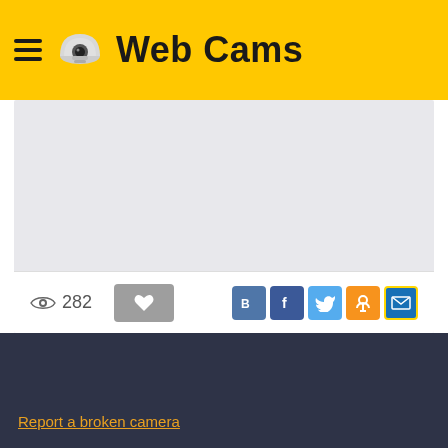Web Cams
[Figure (screenshot): Webcam live stream area, shown as a light gray placeholder rectangle with a bottom bar showing view count (282), a favorite/like button, and social sharing icons (VK, Facebook, Twitter, OK, Mail).]
Report a broken camera